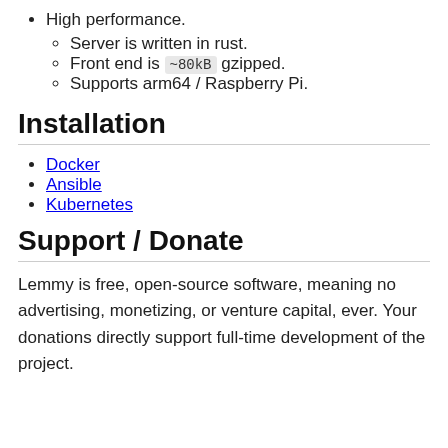High performance.
Server is written in rust.
Front end is ~80kB gzipped.
Supports arm64 / Raspberry Pi.
Installation
Docker
Ansible
Kubernetes
Support / Donate
Lemmy is free, open-source software, meaning no advertising, monetizing, or venture capital, ever. Your donations directly support full-time development of the project.